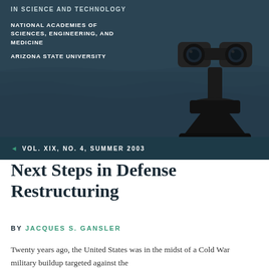IN SCIENCE AND TECHNOLOGY
NATIONAL ACADEMIES OF SCIENCES, ENGINEERING, AND MEDICINE
ARIZONA STATE UNIVERSITY
[Figure (photo): A coin-operated binocular viewer on a stand, overlaid on a dark teal background with a muted coastal or water scene.]
VOL. XIX, NO. 4, SUMMER 2003
Next Steps in Defense Restructuring
BY JACQUES S. GANSLER
Twenty years ago, the United States was in the midst of a Cold War military buildup targeted against the